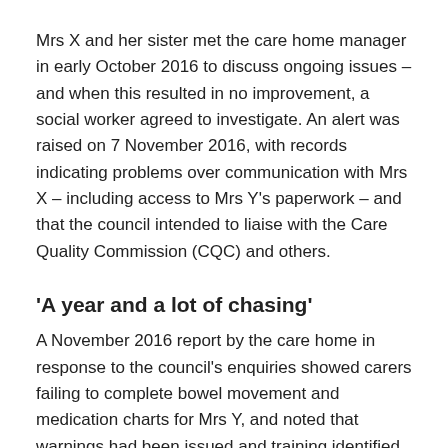Mrs X and her sister met the care home manager in early October 2016 to discuss ongoing issues – and when this resulted in no improvement, a social worker agreed to investigate. An alert was raised on 7 November 2016, with records indicating problems over communication with Mrs X – including access to Mrs Y's paperwork – and that the council intended to liaise with the Care Quality Commission (CQC) and others.
'A year and a lot of chasing'
A November 2016 report by the care home in response to the council's enquiries showed carers failing to complete bowel movement and medication charts for Mrs Y, and noted that warnings had been issued and training identified as a need.
Over the next few months, Rochdale council's social worker coordinated specialist assessments of Mrs Y, securing both